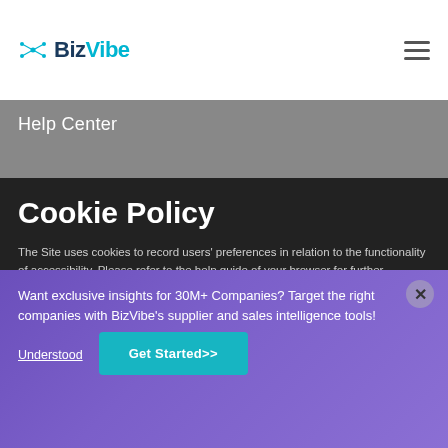BizVibe
Help Center
Cookie Policy
The Site uses cookies to record users' preferences in relation to the functionality of accessibility. Please refer to the help guide of your browser for further information on cookies, including how to disable them. Review our Privacy
Want exclusive insights for 30M+ Companies? Target the right companies with BizVibe's supplier and sales intelligence tools!
Understood
Get Started>>